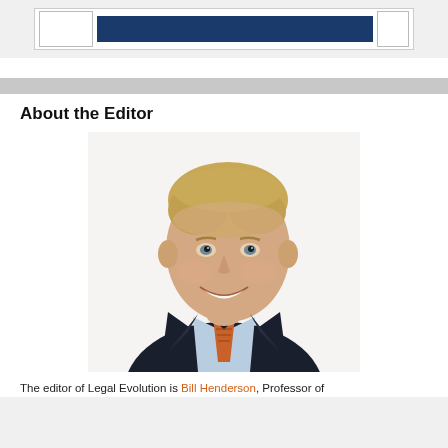[Figure (other): Navigation bar element with dark blue banner strip between two white bordered boxes]
About the Editor
[Figure (photo): Professional headshot of Bill Henderson, a middle-aged man with light brown/blonde hair, smiling, wearing a dark navy suit jacket, light blue dress shirt, and an orange patterned tie, photographed against a white background.]
The editor of Legal Evolution is Bill Henderson, Professor of